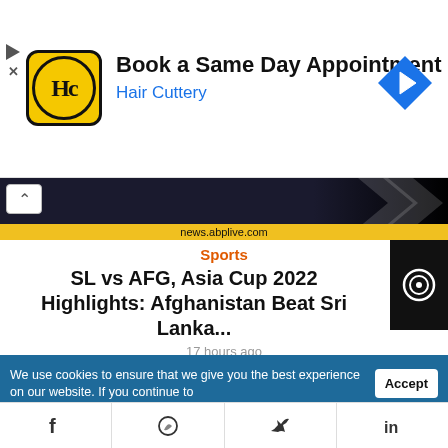[Figure (screenshot): Hair Cuttery advertisement banner with yellow logo, 'Book a Same Day Appointment' text, blue navigation icon]
[Figure (screenshot): Sports article hero image from news.abplive.com with dark background and yellow banner]
Sports
SL vs AFG, Asia Cup 2022 Highlights: Afghanistan Beat Sri Lanka...
17 hours ago
Home Sports SL vs AFG, Asia Cup 2022 Highlights: Afghanistan Beat Sri Lanka To Win Tournament...
We use cookies to ensure that we give you the best experience on our website. If you continue to
[Figure (screenshot): Social share bar with Facebook, WhatsApp, Twitter, and LinkedIn icons]